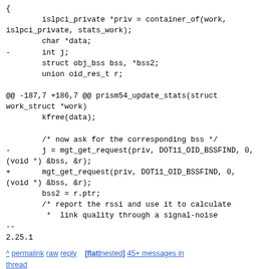{
        islpci_private *priv = container_of(work,
islpci_private, stats_work);
        char *data;
-       int j;
        struct obj_bss bss, *bss2;
        union oid_res_t r;

@@ -187,7 +186,7 @@ prism54_update_stats(struct work_struct *work)
        kfree(data);

        /* now ask for the corresponding bss */
-       j = mgt_get_request(priv, DOT11_OID_BSSFIND, 0,
(void *) &bss, &r);
+       mgt_get_request(priv, DOT11_OID_BSSFIND, 0,
(void *) &bss, &r);
        bss2 = r.ptr;
        /* report the rssi and use it to calculate
         *  link quality through a signal-noise
--
2.25.1
^ permalink raw reply [flat|nested] 45+ messages in thread
* [PATCH 24/30] wireless: marvell: mwifiex: wmm: Mark 'mwifiex_1d_to_wmm_queue' as __maybe_unused